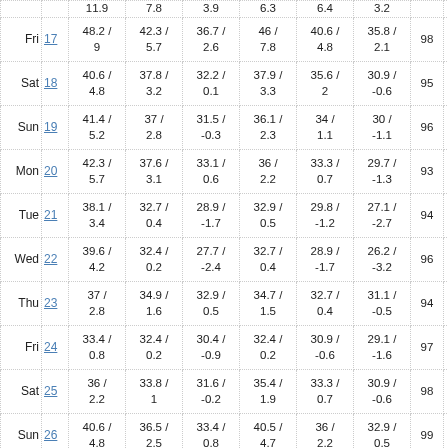| Day | Date | Col1 | Col2 | Col3 | Col4 | Col5 | Col6 | X1 | X2 |
| --- | --- | --- | --- | --- | --- | --- | --- | --- | --- |
|  |  | 11.9 | 7.8 | 3.9 | 6.3 | 6.4 | 3.2 |  |  |
| Fri | 17 | 48.2 /
9 | 42.3 /
5.7 | 36.7 /
2.6 | 46 /
7.8 | 40.6 /
4.8 | 35.8 /
2.1 | 98 | 9 |
| Sat | 18 | 40.6 /
4.8 | 37.8 /
3.2 | 32.2 /
0.1 | 37.9 /
3.3 | 35.6 /
2 | 30.9 /
-0.6 | 95 | 9 |
| Sun | 19 | 41.4 /
5.2 | 37 /
2.8 | 31.5 /
-0.3 | 36.1 /
2.3 | 34 /
1.1 | 30 /
-1.1 | 96 | 8 |
| Mon | 20 | 42.3 /
5.7 | 37.6 /
3.1 | 33.1 /
0.6 | 36 /
2.2 | 33.3 /
0.7 | 29.7 /
-1.3 | 93 | 8 |
| Tue | 21 | 38.1 /
3.4 | 32.7 /
0.4 | 28.9 /
-1.7 | 32.9 /
0.5 | 29.8 /
-1.2 | 27.1 /
-2.7 | 94 | 8 |
| Wed | 22 | 39.6 /
4.2 | 32.4 /
0.2 | 27.7 /
-2.4 | 32.7 /
0.4 | 28.9 /
-1.7 | 26.2 /
-3.2 | 96 | 8 |
| Thu | 23 | 37 /
2.8 | 34.9 /
1.6 | 32.9 /
0.5 | 34.7 /
1.5 | 32.7 /
0.4 | 31.1 /
-0.5 | 94 | 9 |
| Fri | 24 | 33.4 /
0.8 | 32.4 /
0.2 | 30.4 /
-0.9 | 32.4 /
0.2 | 30.9 /
-0.6 | 29.1 /
-1.6 | 97 | 9 |
| Sat | 25 | 36 /
2.2 | 33.8 /
1 | 31.6 /
-0.2 | 35.4 /
1.9 | 33.3 /
0.7 | 30.9 /
-0.6 | 98 | 9 |
| Sun | 26 | 40.6 /
4.8 | 36.5 /
2.5 | 33.4 /
0.8 | 40.5 /
4.7 | 36 /
2.2 | 32.9 /
0.5 | 99 | 9 |